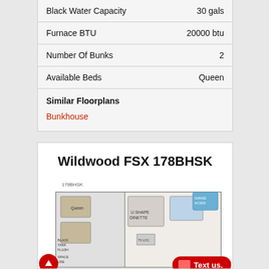| Feature | Value |
| --- | --- |
| Black Water Capacity | 30 gals |
| Furnace BTU | 20000 btu |
| Number Of Bunks | 2 |
| Available Beds | Queen |
Similar Floorplans
Bunkhouse
Wildwood FSX 178BHSK
[Figure (illustration): Floorplan diagram of Wildwood FSX 178BHSK labeled 178BHSK showing interior layout with bunk beds, kitchen, and living area]